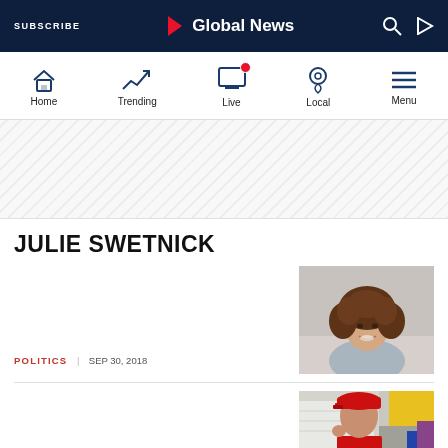SUBSCRIBE | Global News
[Figure (screenshot): Global News navigation bar with Home, Trending, Live, Local, Menu icons]
[Figure (illustration): Diagonal stripe advertisement/promo placeholder area]
JULIE SWETNICK
[Figure (photo): Photo of Julie Swetnick, a woman with curly brown hair smiling]
POLITICS | SEP 30, 2018
[Figure (photo): Partial photo of a person wearing a red Washington Nationals t-shirt and red cap]